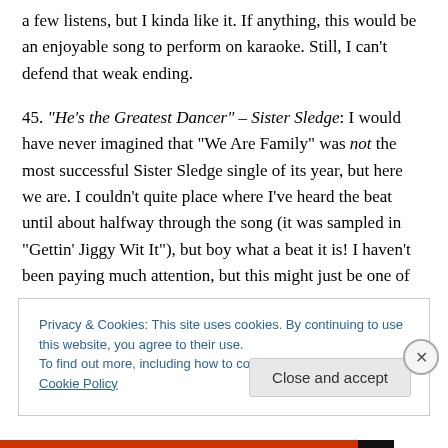a few listens, but I kinda like it. If anything, this would be an enjoyable song to perform on karaoke. Still, I can't defend that weak ending.
45. "He's the Greatest Dancer" – Sister Sledge: I would have never imagined that "We Are Family" was not the most successful Sister Sledge single of its year, but here we are. I couldn't quite place where I've heard the beat until about halfway through the song (it was sampled in "Gettin' Jiggy Wit It"), but boy what a beat it is! I haven't been paying much attention, but this might just be one of
Privacy & Cookies: This site uses cookies. By continuing to use this website, you agree to their use.
To find out more, including how to control cookies, see here: Cookie Policy